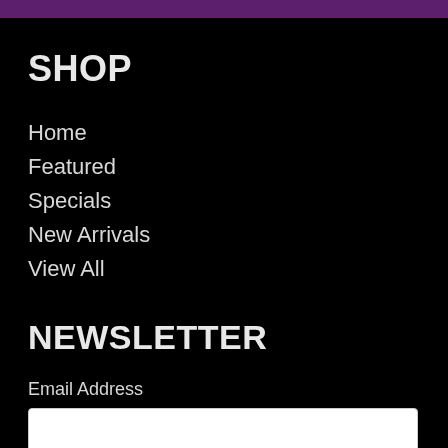SHOP
Home
Featured
Specials
New Arrivals
View All
NEWSLETTER
Email Address
Subscribe